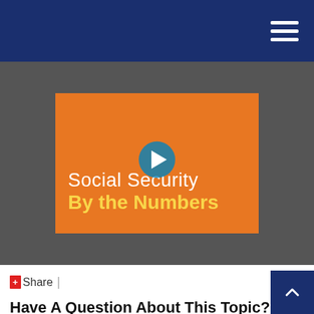Navigation bar with hamburger menu
[Figure (screenshot): Video thumbnail for 'Social Security By the Numbers' with an orange background, white text title, yellow subtitle, and a circular blue play button overlay]
Share |
Have A Question About This Topic?
Name